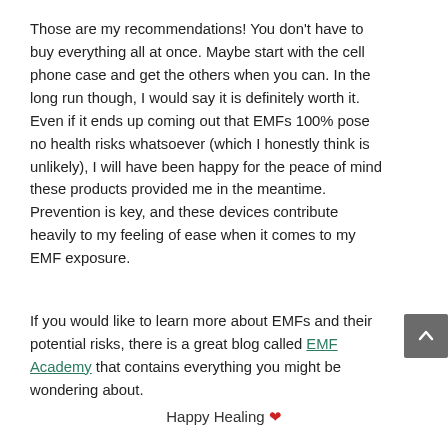Those are my recommendations! You don't have to buy everything all at once. Maybe start with the cell phone case and get the others when you can. In the long run though, I would say it is definitely worth it. Even if it ends up coming out that EMFs 100% pose no health risks whatsoever (which I honestly think is unlikely), I will have been happy for the peace of mind these products provided me in the meantime. Prevention is key, and these devices contribute heavily to my feeling of ease when it comes to my EMF exposure.
If you would like to learn more about EMFs and their potential risks, there is a great blog called EMF Academy that contains everything you might be wondering about.
Happy Healing ❤